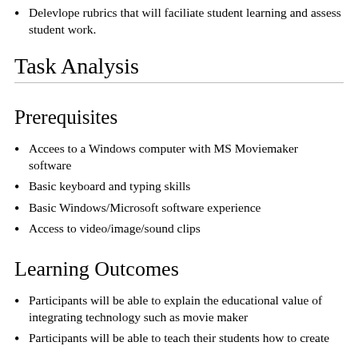Delevlope rubrics that will faciliate student learning and assess student work.
Task Analysis
Prerequisites
Accees to a Windows computer with MS Moviemaker software
Basic keyboard and typing skills
Basic Windows/Microsoft software experience
Access to video/image/sound clips
Learning Outcomes
Participants will be able to explain the educational value of integrating technology such as movie maker
Participants will be able to teach their students how to create